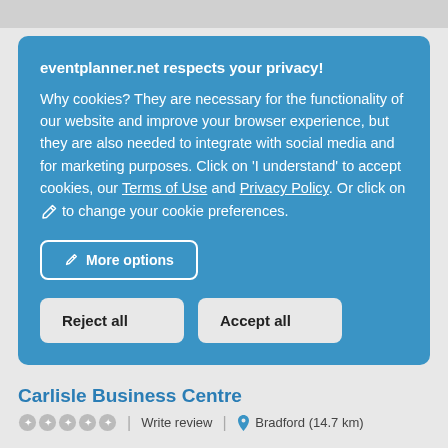[Figure (screenshot): Cookie consent dialog overlay on eventplanner.net with blue background, title, body text with links, and three buttons: More options, Reject all, Accept all]
Carlisle Business Centre
Write review | Bradford (14.7 km)